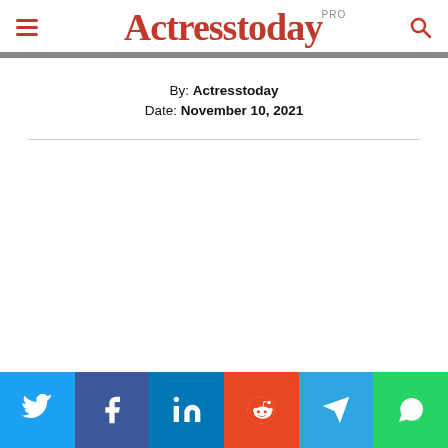Actresstoday PRO
By:  Actresstoday
Date:  November 10, 2021
[Figure (other): Social media share buttons: Twitter, Facebook, LinkedIn, Reddit, Telegram, WhatsApp]